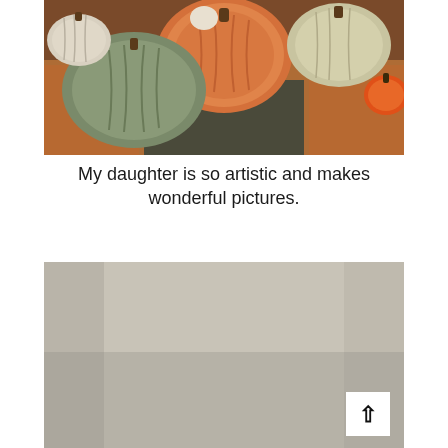[Figure (photo): A photograph of various pumpkins and gourds arranged on a woven mat with a dark runner. Colors include orange, green-grey, cream, and small bright orange. Rustic autumnal still life.]
My daughter is so artistic and makes wonderful pictures.
[Figure (photo): A photograph showing a mostly plain beige/grey surface, likely paper or canvas, partially shown with a back-to-top arrow button overlay in the bottom right corner.]